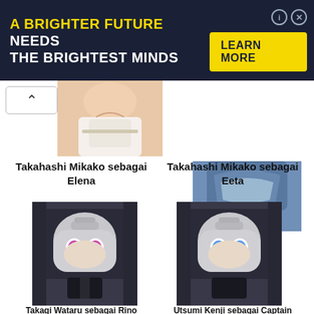[Figure (illustration): Dark blue advertisement banner: 'A BRIGHTER FUTURE NEEDS THE BRIGHTEST MINDS' with a yellow 'LEARN MORE' button and close/info icons.]
[Figure (illustration): Partial anime character image top-left showing torso in white shirt.]
[Figure (illustration): Partial anime character image top-right showing blue torso.]
Takahashi Mikako sebagai Elena
Takahashi Mikako sebagai Eeta
[Figure (illustration): Anime character with silver hair, helmet, and purple eyes, dark background.]
[Figure (illustration): Anime character with silver hair, helmet, and blue eyes, dark background.]
Takagi Wataru sebagai Rino    Utsumi Kenji sebagai Captain